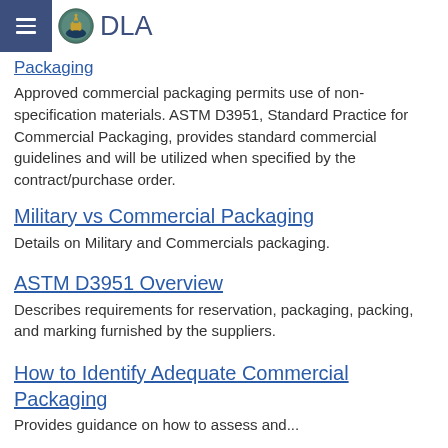DLA
Packaging
Approved commercial packaging permits use of non-specification materials. ASTM D3951, Standard Practice for Commercial Packaging, provides standard commercial guidelines and will be utilized when specified by the contract/purchase order.
Military vs Commercial Packaging
Details on Military and Commercials packaging.
ASTM D3951 Overview
Describes requirements for reservation, packaging, packing, and marking furnished by the suppliers.
How to Identify Adequate Commercial Packaging
Provides guidance on how to assess and...